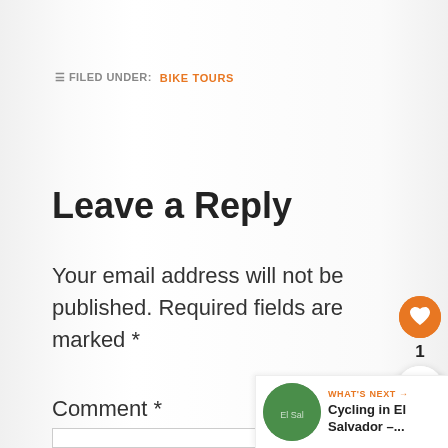☰ FILED UNDER: BIKE TOURS
Leave a Reply
Your email address will not be published. Required fields are marked *
Comment *